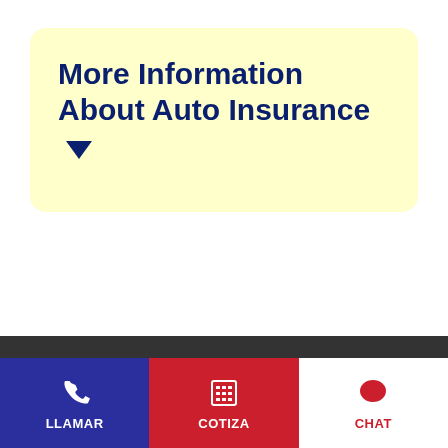More Information About Auto Insurance ▼
LLAMAR
COTIZA
CHAT